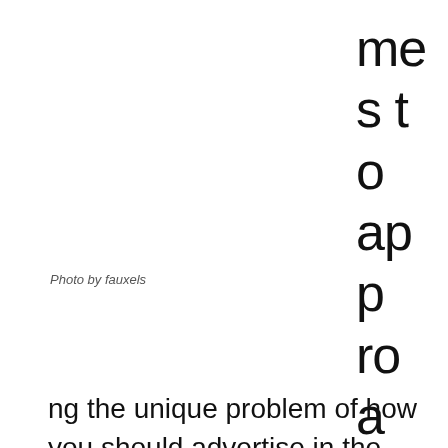me s to app roa chi
Photo by fauxels
ng the unique problem of how you should advertise in the digital age, one of the most unique solutions to the problem is Search Engine Optimization (SEO). SEO focuses on organically building traffic and attention to your website through carefully selected words that help bring clients to you. The scale of SEO can also be fine-tuned to fit a variety of targets from something small as the locals or something as grand as the